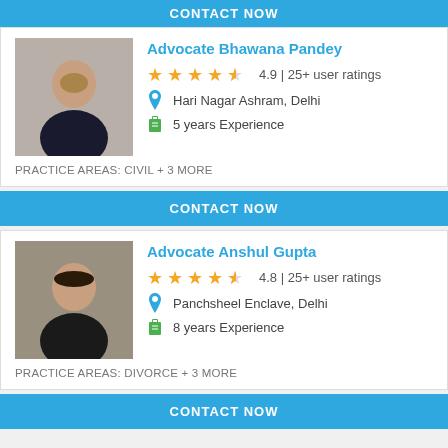CONTACT NOW
Advocate Bhawana Pandey
4.9 | 25+ user ratings
Hari Nagar Ashram, Delhi
5 years Experience
PRACTICE AREAS: Civil + 3 more
CONTACT NOW
Advocate Anshul Gupta
4.8 | 25+ user ratings
Panchsheel Enclave, Delhi
8 years Experience
PRACTICE AREAS: Divorce + 3 more
CONTACT NOW